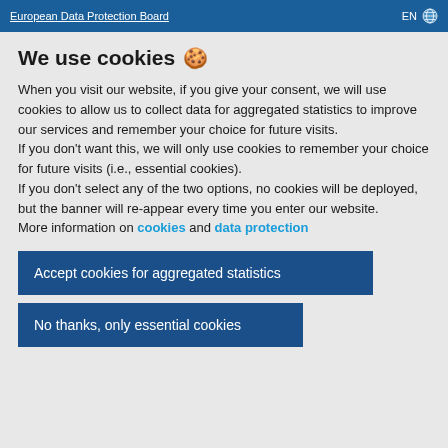European Data Protection Board  EN
We use cookies 🍪
When you visit our website, if you give your consent, we will use cookies to allow us to collect data for aggregated statistics to improve our services and remember your choice for future visits.
If you don't want this, we will only use cookies to remember your choice for future visits (i.e., essential cookies).
If you don't select any of the two options, no cookies will be deployed, but the banner will re-appear every time you enter our website.
More information on cookies and data protection
Accept cookies for aggregated statistics
No thanks, only essential cookies